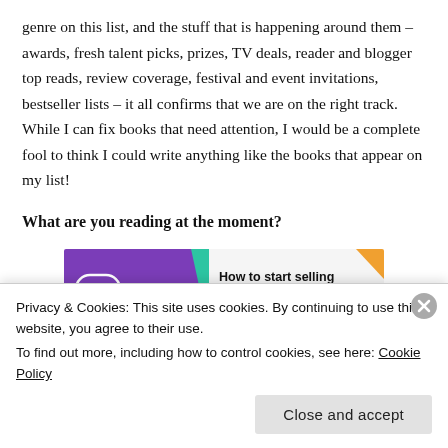genre on this list, and the stuff that is happening around them – awards, fresh talent picks, prizes, TV deals, reader and blogger top reads, review coverage, festival and event invitations, bestseller lists – it all confirms that we are on the right track. While I can fix books that need attention, I would be a complete fool to think I could write anything like the books that appear on my list!
What are you reading at the moment?
[Figure (other): WooCommerce advertisement banner: 'How to start selling subscriptions online']
Oh, OK! It's a mix! I am a person who has books all over the place...
Privacy & Cookies: This site uses cookies. By continuing to use this website, you agree to their use.
To find out more, including how to control cookies, see here: Cookie Policy
Close and accept